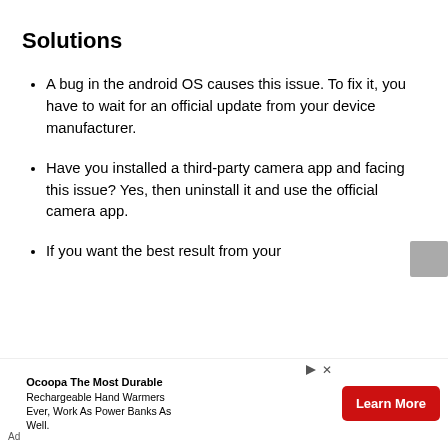Solutions
A bug in the android OS causes this issue. To fix it, you have to wait for an official update from your device manufacturer.
Have you installed a third-party camera app and facing this issue? Yes, then uninstall it and use the official camera app.
If you want the best result from your
Ad Ocoopa The Most Durable Rechargeable Hand Warmers Ever, Work As Power Banks As Well.
Learn More